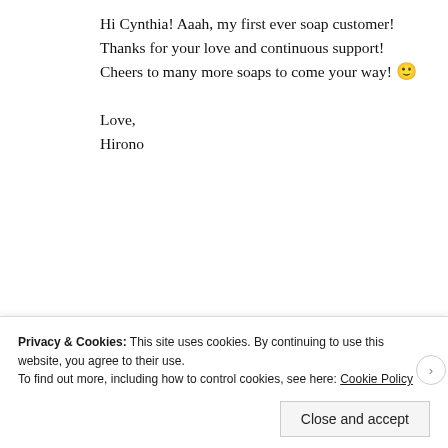Hi Cynthia! Aaah, my first ever soap customer! Thanks for your love and continuous support! Cheers to many more soaps to come your way! 🙂

Love,
Hirono
Reply
[Figure (screenshot): WordPress.com advertisement banner with pink background, WordPress logo, and 'Start Today' dark purple button]
[Figure (screenshot): User avatar - partial circular profile photo with dark background]
Privacy & Cookies: This site uses cookies. By continuing to use this website, you agree to their use.
To find out more, including how to control cookies, see here: Cookie Policy
Close and accept